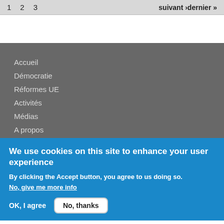1   2   3   suivant ›dernier »
Accueil
Démocratie
Réformes UE
Activités
Médias
A propos
We use cookies on this site to enhance your user experience
By clicking the Accept button, you agree to us doing so.
No, give me more info
OK, I agree   No, thanks